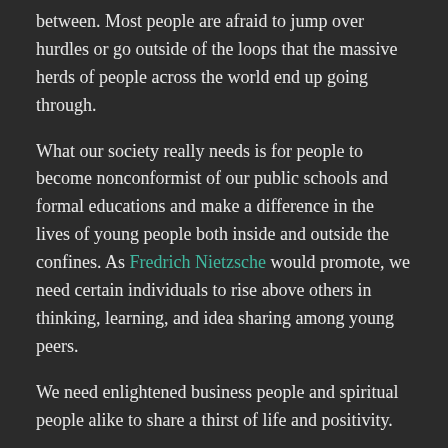between. Most people are afraid to jump over hurdles or go outside of the loops that the massive herds of people across the world end up going through.
What our society really needs is for people to become nonconformist of our public schools and formal educations and make a difference in the lives of young people both inside and outside the confines. As Fredrich Nietzsche would promote, we need certain individuals to rise above others in thinking, learning, and idea sharing among young peers.
We need enlightened business people and spiritual people alike to share a thirst of life and positivity.
A life of positivity is composed of enlightened stages of intellect and new ideas. All these new ideas and deep contemplation can help a person reach a state of happiness. I truly believe the things that we seek in order to achieve happiness varies upon each person and their life